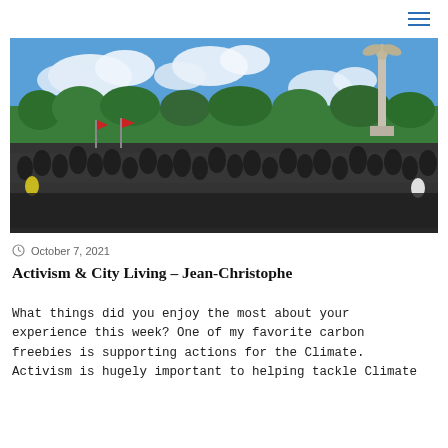[Figure (photo): Large outdoor crowd gathered at a public rally or protest in a park, with a statue on a tall column visible in the background against a blue sky with white clouds. People are densely packed on a street and green lawn area. Some flags are visible in the crowd.]
October 7, 2021
Activism & City Living – Jean-Christophe
What things did you enjoy the most about your experience this week? One of my favorite carbon freebies is supporting actions for the Climate. Activism is hugely important to helping tackle Climate